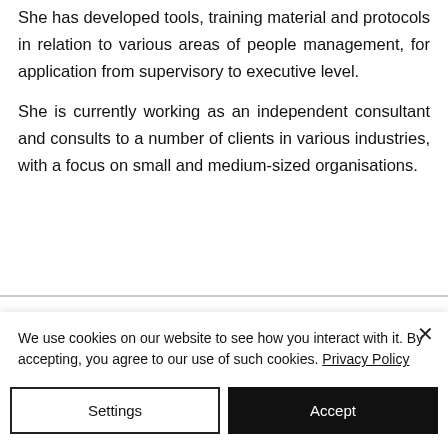She has developed tools, training material and protocols in relation to various areas of people management, for application from supervisory to executive level. She is currently working as an independent consultant and consults to a number of clients in various industries, with a focus on small and medium-sized organisations.
We use cookies on our website to see how you interact with it. By accepting, you agree to our use of such cookies. Privacy Policy
Settings
Accept